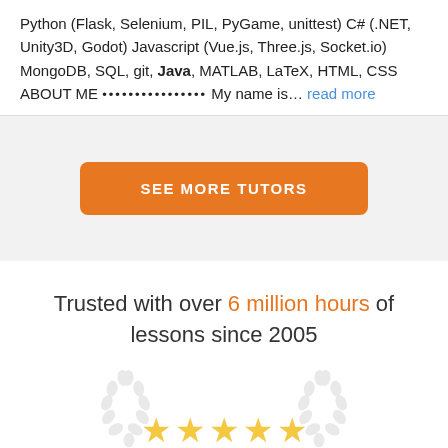Python (Flask, Selenium, PIL, PyGame, unittest) C# (.NET, Unity3D, Godot) Javascript (Vue.js, Three.js, Socket.io) MongoDB, SQL, git, Java, MATLAB, LaTeX, HTML, CSS ABOUT ME ••••••••••••••• My name is... read more
SEE MORE TUTORS
Trusted with over 6 million hours of lessons since 2005